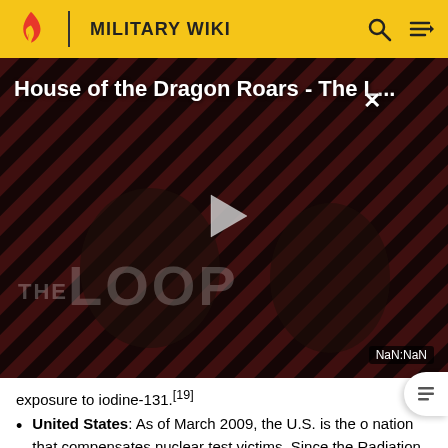MILITARY WIKI
[Figure (screenshot): Video player showing 'House of the Dragon Roars - The L...' with a play button overlay, diagonal stripe background in red/black, two figures visible, THE LOOP watermark, and NaN:NaN timestamp badge]
exposure to iodine-131.[19]
United States: As of March 2009, the U.S. is the o nation that compensates nuclear test victims. Since the Radiation Exposure Compensation Act of 1990, more than $1.38 billion in compensation has been